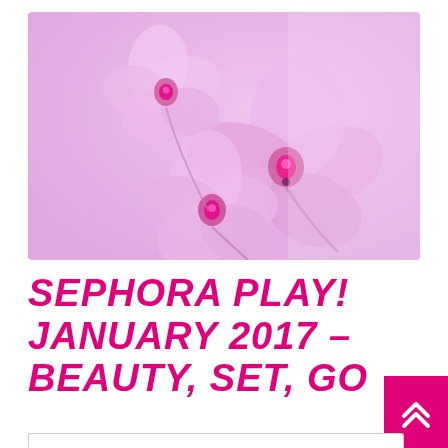[Figure (photo): Close-up photo of pink/purple orchid flowers on a soft lavender-pink background. Three orchid blooms are visible with delicate petals and pink centers.]
SEPHORA PLAY! JANUARY 2017 – BEAUTY, SET, GO